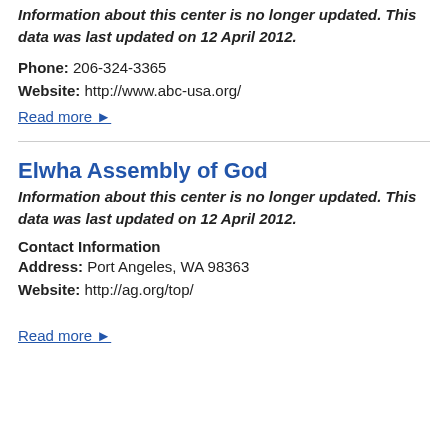Information about this center is no longer updated. This data was last updated on 12 April 2012.
Phone: 206-324-3365
Website: http://www.abc-usa.org/
Read more ▶
Elwha Assembly of God
Information about this center is no longer updated. This data was last updated on 12 April 2012.
Contact Information
Address: Port Angeles, WA 98363
Website: http://ag.org/top/
Read more ▶